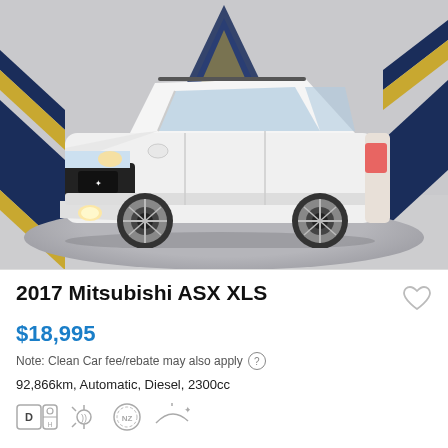[Figure (photo): White 2017 Mitsubishi ASX XLS SUV on a circular showroom turntable, with navy blue and gold chevron decorations on the background walls]
2017 Mitsubishi ASX XLS
$18,995
Note: Clean Car fee/rebate may also apply
92,866km, Automatic, Diesel, 2300cc
[Figure (infographic): Feature icons: diesel badge, Bluetooth audio, NZ compliance badge, roof rails icon]